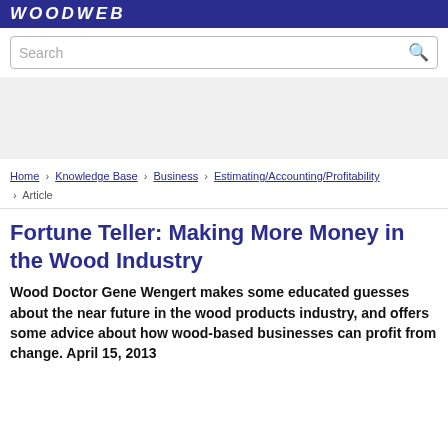WOODWEB
Search
[Figure (other): Advertisement / banner area]
Home › Knowledge Base › Business › Estimating/Accounting/Profitability › Article
Fortune Teller: Making More Money in the Wood Industry
Wood Doctor Gene Wengert makes some educated guesses about the near future in the wood products industry, and offers some advice about how wood-based businesses can profit from change. April 15, 2013